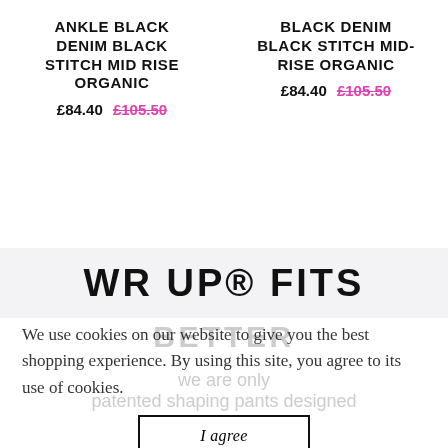ANKLE BLACK DENIM BLACK STITCH MID RISE ORGANIC
£84.40 £105.50
BLACK DENIM BLACK STITCH MID-RISE ORGANIC
£84.40 £105.50
WR UP® FITS
BETTER
We use cookies on our website to give you the best shopping experience. By using this site, you agree to its use of cookies.
we are only patented shaping pants designed
I agree
The WR UP® technology and more